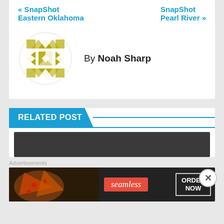<< SnapShot Eastern Oklahoma    SnapShot Pearl River >>
[Figure (illustration): Circular avatar icon with geometric quilt-like pattern in olive/gold and white triangles]
By Noah Sharp
RELATED POST
[Figure (photo): Dark gray thumbnail image placeholder for a related post]
Advertisements
[Figure (photo): Seamless food delivery advertisement banner with pizza photo, seamless logo, and ORDER NOW button]